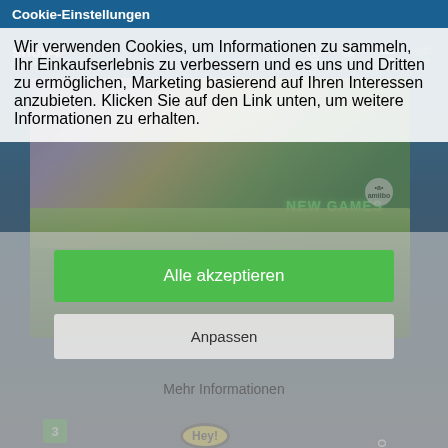[Figure (screenshot): Screenshot of shop4.de.com website showing a cookie consent dialog overlay on top of a video game retailer page. The background shows a Nintendo 3DS game cover for 'Hey! Pikmin' and the shop logo. The foreground shows a cookie consent modal with German text and three buttons.]
Cookie-Einstellungen
Wir verwenden Cookies, um Informationen zu sammeln, Ihr Einkaufserlebnis zu verbessern und es uns und Dritten zu ermöglichen, Marketing basierend auf Ihren Interessen anzubieten. Klicken Sie auf den Link unten, um weitere Informationen zu erhalten.
Alle akzeptieren
Anpassen
Mehr Informationen